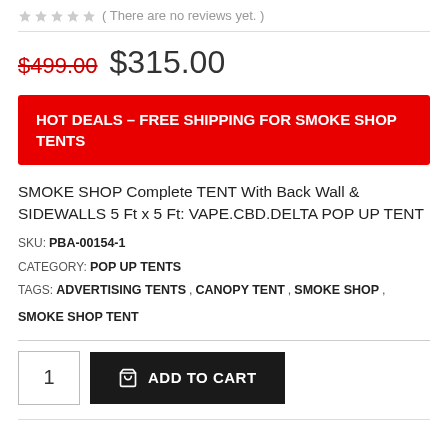( There are no reviews yet. )
$499.00  $315.00
HOT DEALS – FREE SHIPPING FOR SMOKE SHOP TENTS
SMOKE SHOP Complete TENT With Back Wall & SIDEWALLS 5 Ft x 5 Ft: VAPE.CBD.DELTA POP UP TENT
SKU: PBA-00154-1
CATEGORY: POP UP TENTS
TAGS: ADVERTISING TENTS, CANOPY TENT, SMOKE SHOP, SMOKE SHOP TENT
1  ADD TO CART